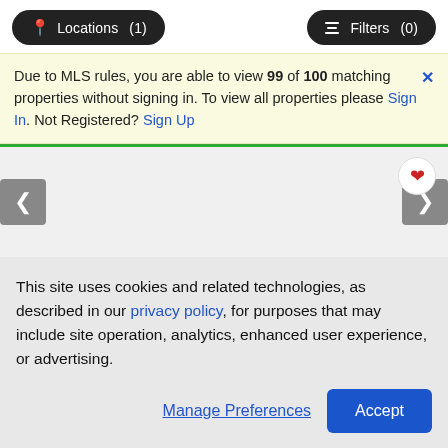Locations (1)   Filters (0)
Due to MLS rules, you are able to view 99 of 100 matching properties without signing in. To view all properties please Sign In. Not Registered? Sign Up
[Figure (screenshot): Property listing card area with left/right navigation arrows and a heart/save button. Background is light gray with a green tab at top.]
This site uses cookies and related technologies, as described in our privacy policy, for purposes that may include site operation, analytics, enhanced user experience, or advertising.
Manage Preferences   Accept